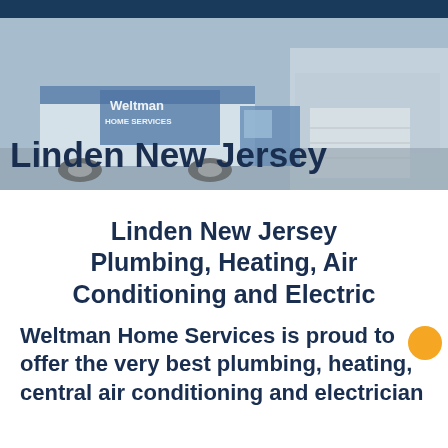[Figure (photo): Weltman Home Services branded truck parked in front of a house driveway, with the text 'Linden New Jersey' overlaid on the image and a dark blue header bar at the top.]
Linden New Jersey Plumbing, Heating, Air Conditioning and Electric
Weltman Home Services is proud to offer the very best plumbing, heating, central air conditioning and electrician services in Linden New Jersey